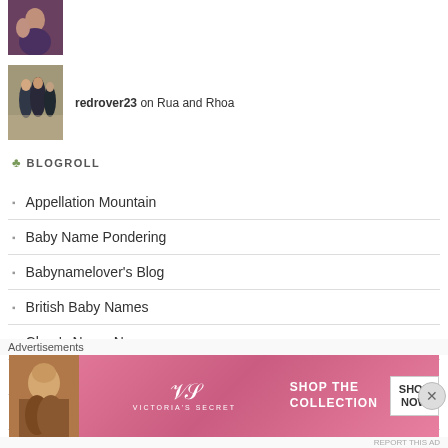[Figure (photo): Thumbnail photo of two people, top of page]
redrover23 on Rua and Rhoa
[Figure (photo): Thumbnail photo of group of people walking]
BLOGROLL
Appellation Mountain
Baby Name Pondering
Babynamelover's Blog
British Baby Names
Clare's Name News
For Real Baby Names
Geek Baby Names
Name Candy
Advertisements
[Figure (photo): Victoria's Secret advertisement banner with model and SHOP THE COLLECTION text, SHOP NOW button]